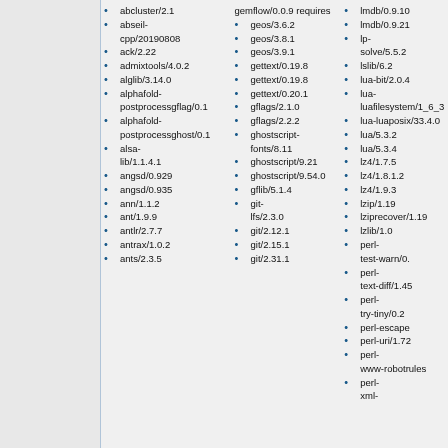abcluster/2.1
abseil-cpp/20190808
ack/2.22
admixtools/4.0.2
alglib/3.14.0
alphafold-postprocessgflag/0.1
alphafold-postprocessghost/0.1
alsa-lib/1.1.4.1
angsd/0.929
angsd/0.935
ann/1.1.2
ant/1.9.9
antlr/2.7.7
antrax/1.0.2
ants/2.3.5
geos/3.6.2
geos/3.8.1
geos/3.9.1
gettext/0.19.8
gettext/0.19.8
gettext/0.20.1
gflags/2.1.0
gflags/2.2.2
ghostscript-fonts/8.11
ghostscript/9.21
ghostscript/9.54.0
gflib/5.1.4
git-lfs/2.3.0
git/2.12.1
git/2.15.1
git/2.31.1
lmdb/0.9.10
lmdb/0.9.21
lp-solve/5.5.2
lslib/6.2
lua-bit/2.0.4
lua-luafilesystem/1_6_3
lua-luaposix/33.4.0
lua/5.3.2
lua/5.3.4
lz4/1.7.5
lz4/1.8.1.2
lz4/1.9.3
lzip/1.19
lziprecover/1.19
gemflow/0.0.9
requires
perl-test-warn/0.
perl-text-diff/1.45
perl-try-tiny/0.2
perl-escape
perl-uri/1.72
perl-www-robotrules
perl-xml-